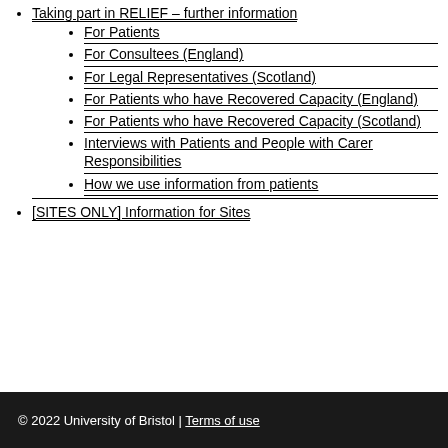Taking part in RELIEF – further information
For Patients
For Consultees (England)
For Legal Representatives (Scotland)
For Patients who have Recovered Capacity (England)
For Patients who have Recovered Capacity (Scotland)
Interviews with Patients and People with Carer Responsibilities
How we use information from patients
[SITES ONLY] Information for Sites
© 2022 University of Bristol | Terms of use